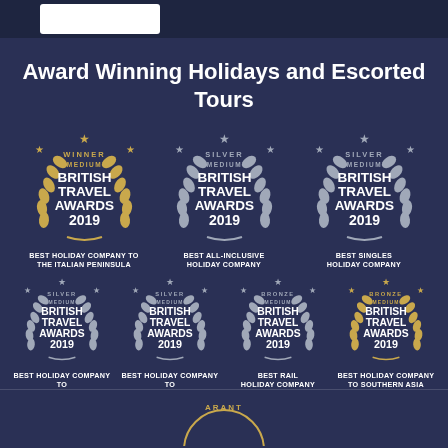[Figure (logo): Company logo in white box at top]
Award Winning Holidays and Escorted Tours
[Figure (infographic): Seven British Travel Awards 2019 badges arranged in two rows: Winner Medium (gold), Silver Medium x2, Silver Medium x2, Bronze Medium x2. Categories: Best Holiday Company to the Italian Peninsula, Best All-Inclusive Holiday Company, Best Singles Holiday Company, Best Holiday Company to Central & South America, Best Holiday Company to East & Central Asia, Best Rail Holiday Company, Best Holiday Company to Southern Asia]